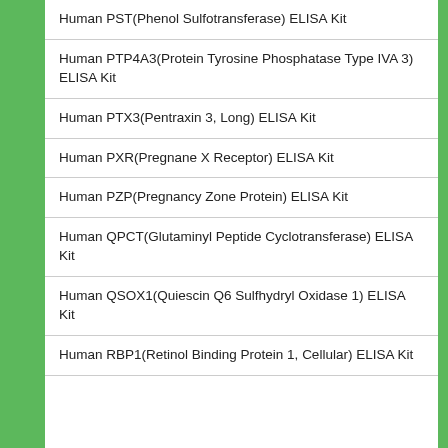Human PST(Phenol Sulfotransferase) ELISA Kit
Human PTP4A3(Protein Tyrosine Phosphatase Type IVA 3) ELISA Kit
Human PTX3(Pentraxin 3, Long) ELISA Kit
Human PXR(Pregnane X Receptor) ELISA Kit
Human PZP(Pregnancy Zone Protein) ELISA Kit
Human QPCT(Glutaminyl Peptide Cyclotransferase) ELISA Kit
Human QSOX1(Quiescin Q6 Sulfhydryl Oxidase 1) ELISA Kit
Human RBP1(Retinol Binding Protein 1, Cellular) ELISA Kit